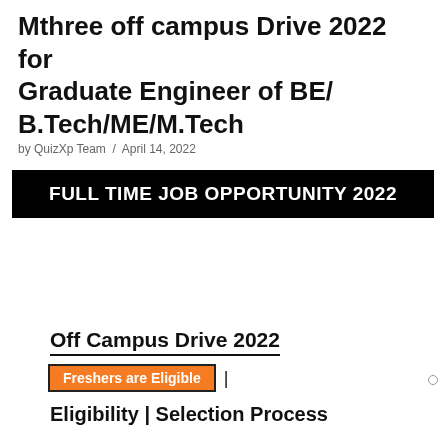Mthree off campus Drive 2022 for Graduate Engineer of BE/ B.Tech/ME/M.Tech
by QuizXp Team / April 14, 2022
[Figure (infographic): Black banner with text FULL TIME JOB OPPORTUNITY 2022 in white bold letters]
[Figure (logo): Mthree company logo with stylized M shape in purple/blue/magenta colors and the wordmark 'mthree' in blue, plus an APPLY NOW badge in red]
Off Campus Drive 2022
Freshers are Eligible
Eligibility | Selection Process